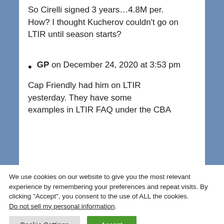So Cirelli signed 3 years…4.8M per. How? I thought Kucherov couldn't go on LTIR until season starts?
GP on December 24, 2020 at 3:53 pm
Cap Friendly had him on LTIR yesterday. They have some examples in LTIR FAQ under the CBA
We use cookies on our website to give you the most relevant experience by remembering your preferences and repeat visits. By clicking "Accept", you consent to the use of ALL the cookies.
Do not sell my personal information.